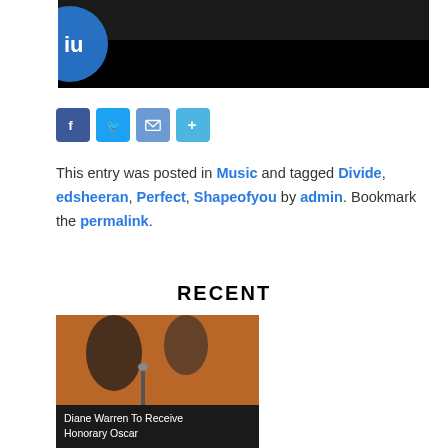[Figure (photo): Top cropped image of a music video or performance, dark background with partial logos visible]
[Figure (infographic): Social share buttons: Facebook (blue), Twitter (light blue), Email (gray), Share/Plus (gray)]
This entry was posted in Music and tagged Divide, edsheeran, Perfect, Shapeofyou by admin. Bookmark the permalink.
RECENT
[Figure (photo): Photo of Diane Warren at an awards show, partially overlaid with dark banner reading 'Diane Warren To Receive Honorary Oscar']